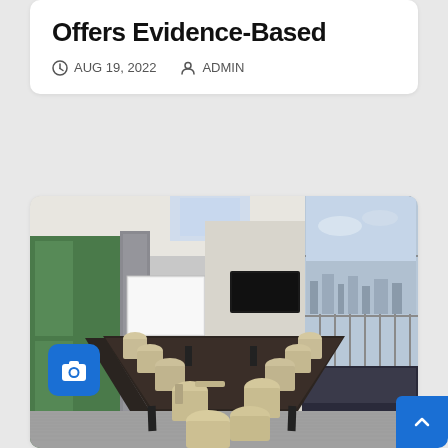Offers Evidence-Based
AUG 19, 2022   ADMIN
[Figure (photo): Modern high-rise conference room with a long dark rectangular table, cream-colored office chairs on both sides, floor-to-ceiling glass windows on the right showing a cityscape, a whiteboard on the left wall, a large TV screen on the far wall, and a skylight ceiling. A blue camera icon button is overlaid on the lower-left of the image.]